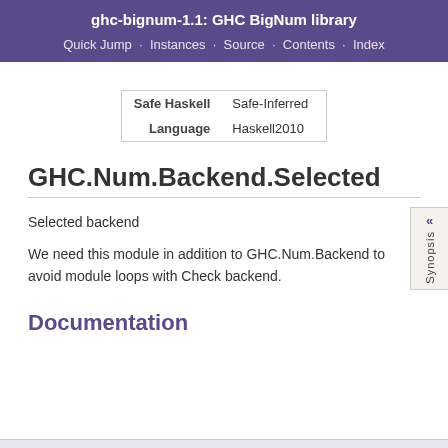ghc-bignum-1.1: GHC BigNum library
Quick Jump · Instances · Source · Contents · Index
|  |  |
| --- | --- |
| Safe Haskell | Safe-Inferred |
| Language | Haskell2010 |
GHC.Num.Backend.Selected
Selected backend
We need this module in addition to GHC.Num.Backend to avoid module loops with Check backend.
Documentation